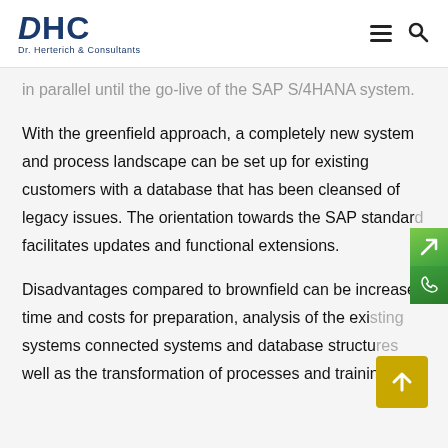DHC Dr. Herterich & Consultants
in parallel until the go-live of the SAP S/4HANA system.
With the greenfield approach, a completely new system and process landscape can be set up for existing customers with a database that has been cleansed of legacy issues. The orientation towards the SAP standard facilitates updates and functional extensions.
Disadvantages compared to brownfield can be increased time and costs for preparation, analysis of the existing systems connected systems and database structures as well as the transformation of processes and training of